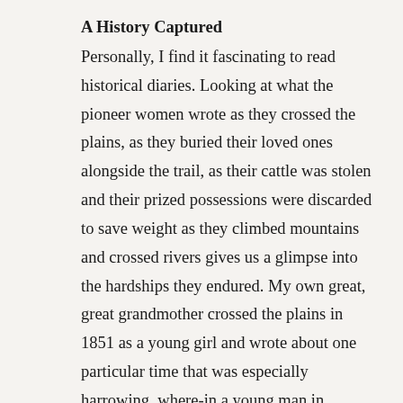A History Captured
Personally, I find it fascinating to read historical diaries. Looking at what the pioneer women wrote as they crossed the plains, as they buried their loved ones alongside the trail, as their cattle was stolen and their prized possessions were discarded to save weight as they climbed mountains and crossed rivers gives us a glimpse into the hardships they endured. My own great, great grandmother crossed the plains in 1851 as a young girl and wrote about one particular time that was especially harrowing, where-in a young man in